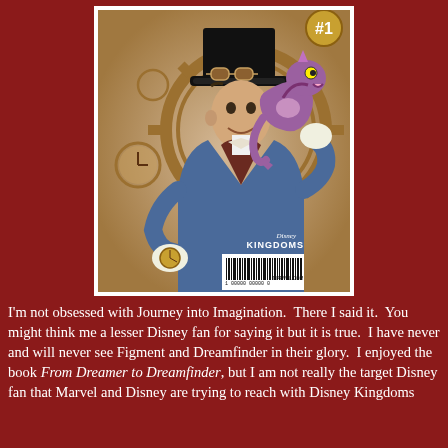[Figure (illustration): Comic book cover for Disney Kingdoms issue #1, showing a steampunk-dressed man in a top hat with goggles, a blue suit and white gloves, with a purple dragon (Figment) perched on his shoulder. Steampunk gears and clocks in background. 'Disney Kingdoms' logo and barcode visible at bottom.]
I'm not obsessed with Journey into Imagination.  There I said it.  You might think me a lesser Disney fan for saying it but it is true.  I have never and will never see Figment and Dreamfinder in their glory.  I enjoyed the book From Dreamer to Dreamfinder, but I am not really the target Disney fan that Marvel and Disney are trying to reach with Disney Kingdoms